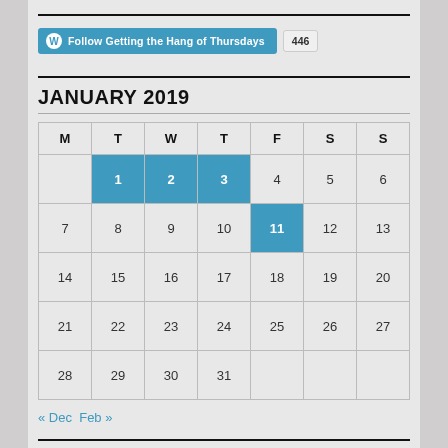[Figure (other): WordPress Follow button for 'Getting the Hang of Thursdays' with follower count 446]
JANUARY 2019
| M | T | W | T | F | S | S |
| --- | --- | --- | --- | --- | --- | --- |
|  | 1 | 2 | 3 | 4 | 5 | 6 |
| 7 | 8 | 9 | 10 | 11 | 12 | 13 |
| 14 | 15 | 16 | 17 | 18 | 19 | 20 |
| 21 | 22 | 23 | 24 | 25 | 26 | 27 |
| 28 | 29 | 30 | 31 |  |  |  |
« Dec  Feb »
WHAT I'M READING